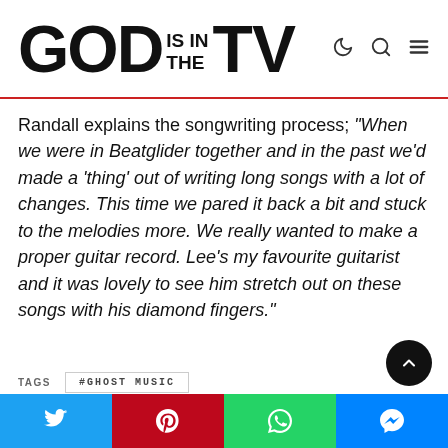GOD IS IN THE TV
Randall explains the songwriting process; “When we were in Beatglider together and in the past we’d made a ‘thing’ out of writing long songs with a lot of changes. This time we pared it back a bit and stuck to the melodies more. We really wanted to make a proper guitar record. Lee’s my favourite guitarist and it was lovely to see him stretch out on these songs with his diamond fingers.”
TAGS  #GHOST MUSIC